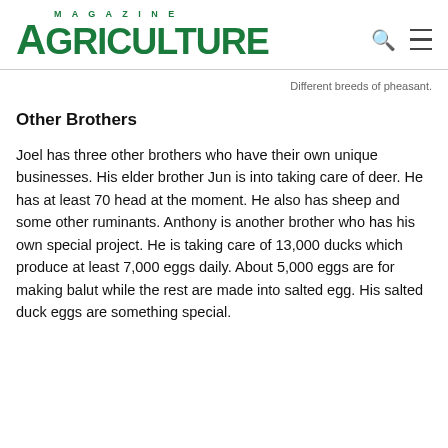MAGAZINE AGRICULTURE
Different breeds of pheasant.
Other Brothers
Joel has three other brothers who have their own unique businesses. His elder brother Jun is into taking care of deer. He has at least 70 head at the moment. He also has sheep and some other ruminants. Anthony is another brother who has his own special project. He is taking care of 13,000 ducks which produce at least 7,000 eggs daily. About 5,000 eggs are for making balut while the rest are made into salted egg. His salted duck eggs are something special.